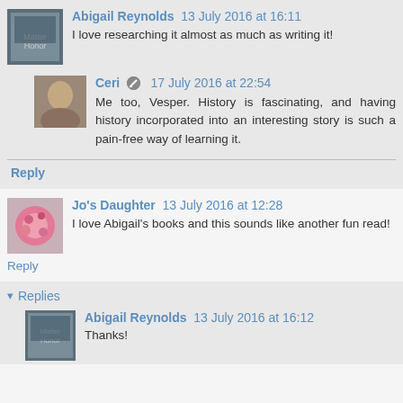Abigail Reynolds 13 July 2016 at 16:11
I love researching it almost as much as writing it!
Ceri 17 July 2016 at 22:54
Me too, Vesper. History is fascinating, and having history incorporated into an interesting story is such a pain-free way of learning it.
Reply
Jo's Daughter 13 July 2016 at 12:28
I love Abigail's books and this sounds like another fun read!
Reply
Replies
Abigail Reynolds 13 July 2016 at 16:12
Thanks!